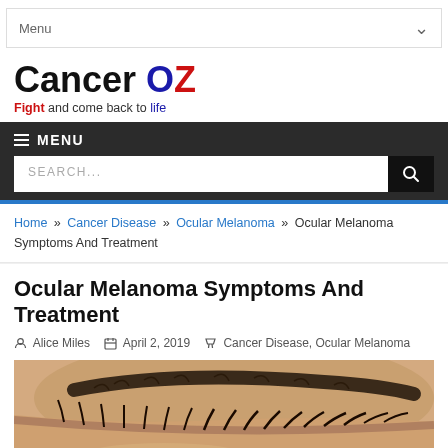Menu
Cancer OZ — Fight and come back to life
MENU
SEARCH...
Home » Cancer Disease » Ocular Melanoma » Ocular Melanoma Symptoms And Treatment
Ocular Melanoma Symptoms And Treatment
Alice Miles   April 2, 2019   Cancer Disease, Ocular Melanoma
[Figure (photo): Close-up photo of a human eye with eyelashes and eyebrow visible]